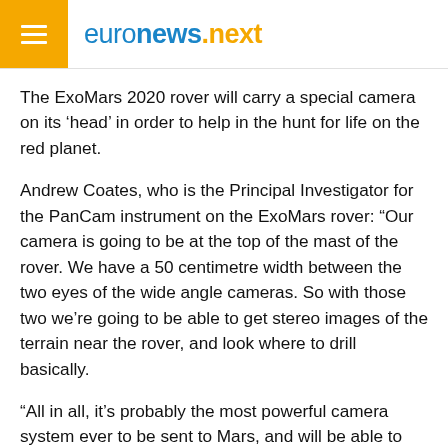euronews.next
The ExoMars 2020 rover will carry a special camera on its ‘head’ in order to help in the hunt for life on the red planet.
Andrew Coates, who is the Principal Investigator for the PanCam instrument on the ExoMars rover: “Our camera is going to be at the top of the mast of the rover. We have a 50 centimetre width between the two eyes of the wide angle cameras. So with those two we’re going to be able to get stereo images of the terrain near the rover, and look where to drill basically.
“All in all, it’s probably the most powerful camera system ever to be sent to Mars, and will be able to give us really good context for the ExoMars rover mission,” he says.